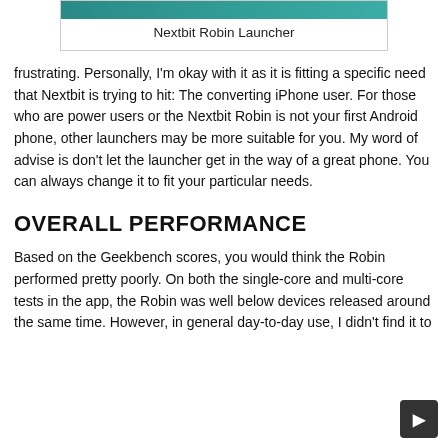[Figure (screenshot): Top portion of a screenshot showing the Nextbit Robin Launcher image with a teal/green header strip]
Nextbit Robin Launcher
frustrating.  Personally, I'm okay with it as it is fitting a specific need that Nextbit is trying to hit:  The converting iPhone user.  For those who are power users or the Nextbit Robin is not your first Android phone, other launchers may be more suitable for you.  My word of advise is don't let the launcher get in the way of a great phone.  You can always change it to fit your particular needs.
OVERALL PERFORMANCE
Based on the Geekbench scores, you would think the Robin performed pretty poorly.  On both the single-core and multi-core tests in the app, the Robin was well below devices released around the same time.  However, in general day-to-day use, I didn't find it to